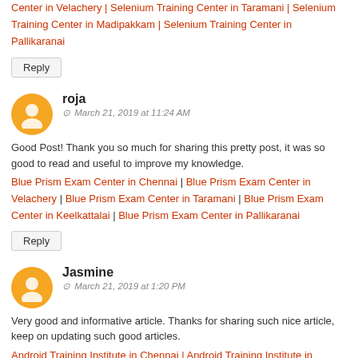Center in Velachery | Selenium Training Center in Taramani | Selenium Training Center in Madipakkam | Selenium Training Center in Pallikaranai
Reply
roja
March 21, 2019 at 11:24 AM
Good Post! Thank you so much for sharing this pretty post, it was so good to read and useful to improve my knowledge.
Blue Prism Exam Center in Chennai | Blue Prism Exam Center in Velachery | Blue Prism Exam Center in Taramani | Blue Prism Exam Center in Keelkattalai | Blue Prism Exam Center in Pallikaranai
Reply
Jasmine
March 21, 2019 at 1:20 PM
Very good and informative article. Thanks for sharing such nice article, keep on updating such good articles.
Android Training Institute in Chennai | Android Training Institute in Velachery | Android Training Center in